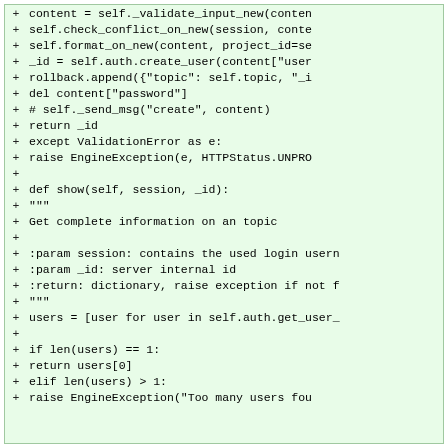[Figure (screenshot): Code diff snippet showing Python methods with added lines (green background, + prefix). Lines include content = self._validate_input_new(conten, self.check_conflict_on_new(session, conte, self.format_on_new(content, project_id=se, _id = self.auth.create_user(content["user, rollback.append({"topic": self.topic, "_i, del content["password"], # self._send_msg("create", content), return _id, except ValidationError as e:, raise EngineException(e, HTTPStatus.UNPRO, blank line, def show(self, session, _id):, """, Get complete information on an topic, blank line, :param session: contains the used login usern, :param _id: server internal id, :return: dictionary, raise exception if not f, """, users = [user for user in self.auth.get_user_, blank line, if len(users) == 1:, return users[0], elif len(users) > 1:, raise EngineException("Too many users fou]